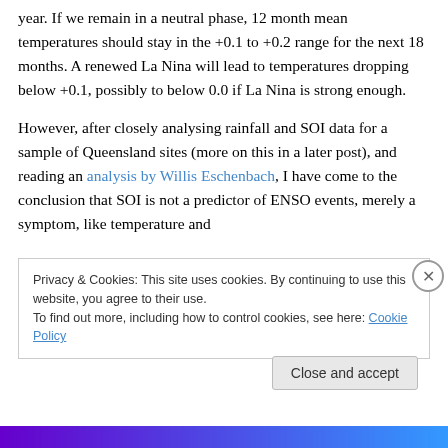year.  If we remain in a neutral phase, 12 month mean temperatures should stay in the +0.1 to +0.2 range for the next 18 months.  A renewed La Nina will lead to temperatures dropping below +0.1, possibly to below 0.0 if La Nina is strong enough.
However, after closely analysing rainfall and SOI data for a sample of Queensland sites (more on this in a later post), and reading an analysis by Willis Eschenbach, I have come to the conclusion that SOI is not a predictor of ENSO events, merely a symptom, like temperature and
Privacy & Cookies: This site uses cookies. By continuing to use this website, you agree to their use.
To find out more, including how to control cookies, see here: Cookie Policy